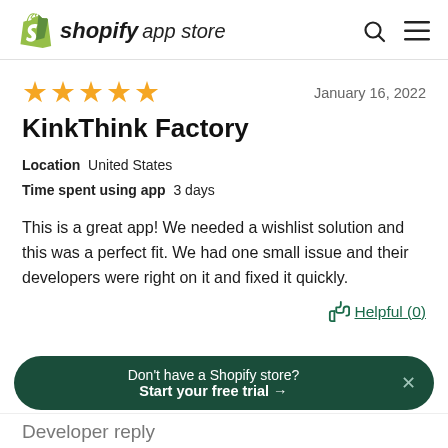shopify app store
[Figure (other): Five gold star rating]
January 16, 2022
KinkThink Factory
Location United States
Time spent using app 3 days
This is a great app! We needed a wishlist solution and this was a perfect fit. We had one small issue and their developers were right on it and fixed it quickly.
Helpful (0)
Don't have a Shopify store? Start your free trial →
Developer reply